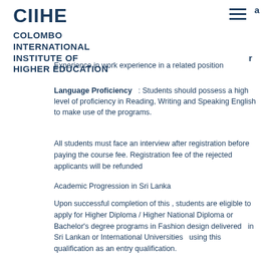CIIHE
COLOMBO INTERNATIONAL INSTITUTE OF HIGHER EDUCATION
Experience in work experience in a related position
Language Proficiency : Students should possess a high level of proficiency in Reading, Writing and Speaking English to make use of the programs.
All students must face an interview after registration before paying the course fee. Registration fee of the rejected applicants will be refunded
Academic Progression in Sri Lanka
Upon successful completion of this , students are eligible to apply for Higher Diploma / Higher National Diploma or Bachelor’s degree programs in Fashion design delivered  in Sri Lankan or International Universities  using this qualification as an entry qualification.